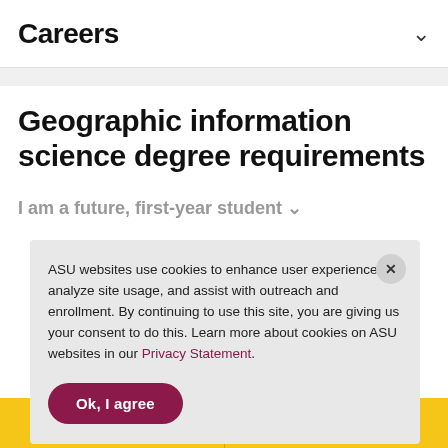Careers
Geographic information science degree requirements
I am a future, first-year student
ASU websites use cookies to enhance user experience, analyze site usage, and assist with outreach and enrollment. By continuing to use this site, you are giving us your consent to do this. Learn more about cookies on ASU websites in our Privacy Statement.
Ok, I agree
Apply now  Contact